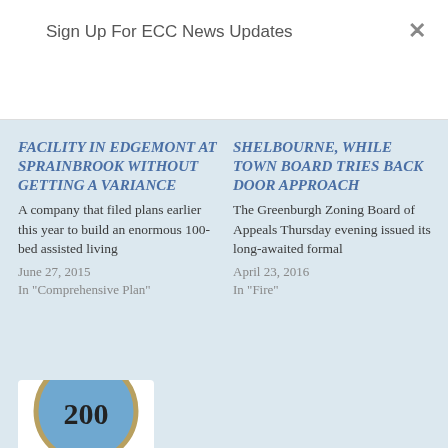Sign Up For ECC News Updates
×
FACILITY IN EDGEMONT AT SPRAINBROOK WITHOUT GETTING A VARIANCE
A company that filed plans earlier this year to build an enormous 100-bed assisted living
June 27, 2015
In "Comprehensive Plan"
SHELBOURNE, WHILE TOWN BOARD TRIES BACK DOOR APPROACH
The Greenburgh Zoning Board of Appeals Thursday evening issued its long-awaited formal
April 23, 2016
In "Fire"
[Figure (photo): Circular badge or coin image with number 200 visible]